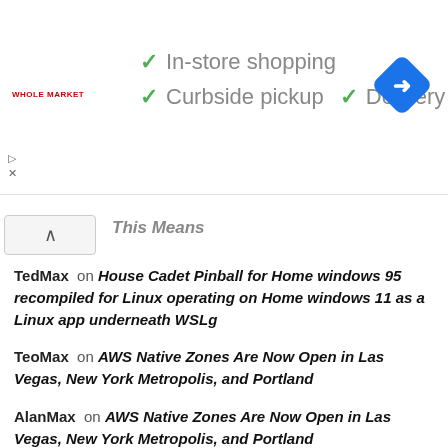[Figure (screenshot): Advertisement banner for a store showing checkmarks next to 'In-store shopping', 'Curbside pickup', and 'Delivery' with a navigation app icon on the right]
This Means
TedMax on House Cadet Pinball for Home windows 95 recompiled for Linux operating on Home windows 11 as a Linux app underneath WSLg
TeoMax on AWS Native Zones Are Now Open in Las Vegas, New York Metropolis, and Portland
AlanMax on AWS Native Zones Are Now Open in Las Vegas, New York Metropolis, and Portland
JudyMax on Cardano Will increase Block Measurement By 12.5%, What This Means
TeoMax on Cardano Will increase Block Measurement By 12.5%, What This Means
twoass on Get $300 off the Narwal T10 plus a free accent present